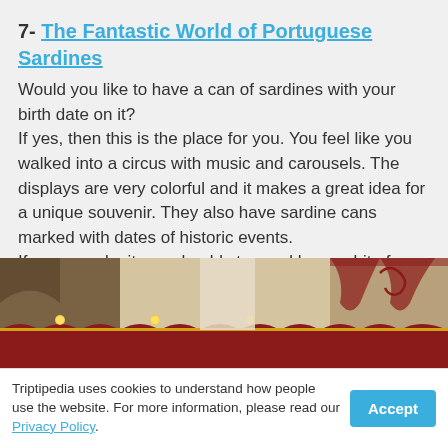7- The Fantastic World of Portuguese Sardines
Would you like to have a can of sardines with your birth date on it?
If yes, then this is the place for you. You feel like you walked into a circus with music and carousels. The displays are very colorful and it makes a great idea for a unique souvenir. They also have sardine cans marked with dates of historic events.
If you pass by it you should stop and have a bit of a nosey.
[Figure (photo): Interior of The Fantastic World of Portuguese Sardines shop showing colorful circus-style decorations with red and gold trim, lights, and merchandise displays.]
Triptipedia uses cookies to understand how people use the website. For more information, please read our Privacy Policy.